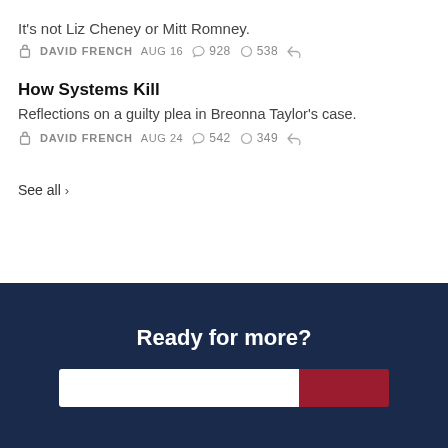It's not Liz Cheney or Mitt Romney.
DAVID FRENCH  AUG 16  ♡ 928  ◯ 538
How Systems Kill
Reflections on a guilty plea in Breonna Taylor's case.
DAVID FRENCH  AUG 24  ♡ 542  ◯ 349
See all >
Ready for more?